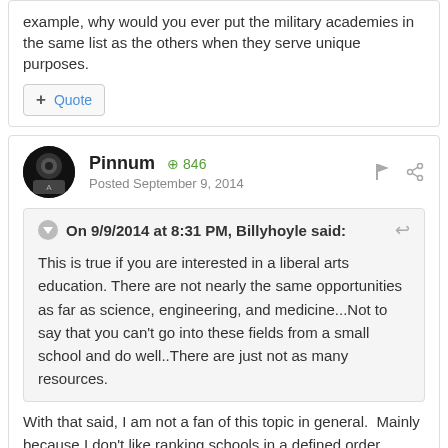example, why would you ever put the military academies in the same list as the others when they serve unique purposes.
+ Quote
Pinnum ⊕ 846
Posted September 9, 2014
On 9/9/2014 at 8:31 PM, Billyhoyle said:
This is true if you are interested in a liberal arts education. There are not nearly the same opportunities as far as science, engineering, and medicine...Not to say that you can't go into these fields from a small school and do well..There are just not as many resources.
With that said, I am not a fan of this topic in general.  Mainly because I don't like ranking schools in a defined order, implying that there is a significant difference in the quality of education available between a school ranked #30 and #50 or #2 and #20.